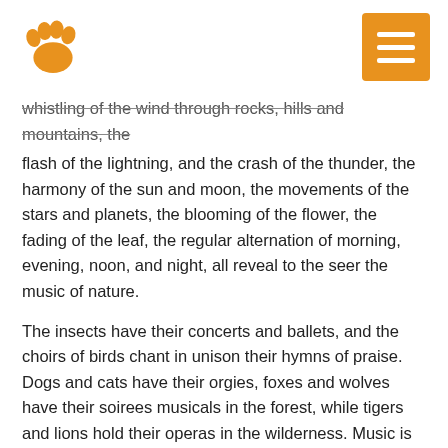[Paw logo] [Menu button]
whistling of the wind through rocks, hills and mountains, the flash of the lightning, and the crash of the thunder, the harmony of the sun and moon, the movements of the stars and planets, the blooming of the flower, the fading of the leaf, the regular alternation of morning, evening, noon, and night, all reveal to the seer the music of nature.
The insects have their concerts and ballets, and the choirs of birds chant in unison their hymns of praise. Dogs and cats have their orgies, foxes and wolves have their soirees musicals in the forest, while tigers and lions hold their operas in the wilderness. Music is the only means of understanding among birds and beasts. This may be seen by the graduation of pitch and the volume of tone, the manner of tune, the number of repetitions, and the